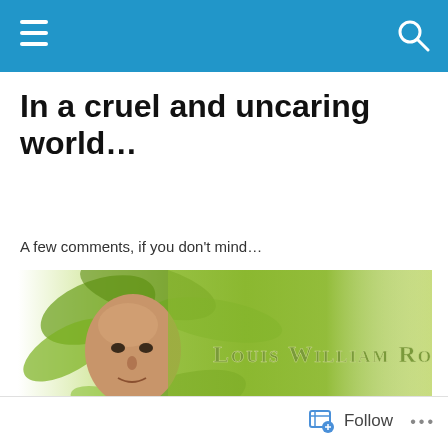In a cruel and uncaring world…
A few comments, if you don't mind…
[Figure (illustration): Blog banner image showing Louis William Rose — a bald man's face against tropical green leaves background, with stylized text 'Louis William Rose' in grey/green letters.]
POSTED IN RIGHT TO BEAR ARMS
On Rebellion
Follow